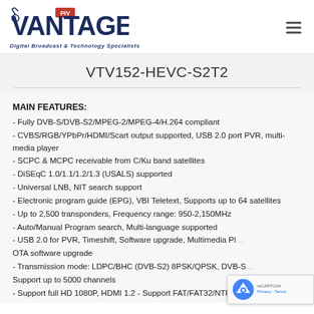VANTAGE PIV — Digital Broadcast & Technology Specialists
VTV152-HEVC-S2T2
MAIN FEATURES:
- Fully DVB-S/DVB-S2/MPEG-2/MPEG-4/H.264 compliant
- CVBS/RGB/YPbPr/HDMI/Scart output supported, USB 2.0 port PVR, multi-media player
- SCPC & MCPC receivable from C/Ku band satellites
- DiSEqC 1.0/1.1/1.2/1.3 (USALS) supported
- Universal LNB, NIT search support
- Electronic program guide (EPG), VBI Teletext, Supports up to 64 satellites
- Up to 2,500 transponders, Frequency range: 950-2,150MHz
- Auto/Manual Program search, Multi-language supported
- USB 2.0 for PVR, Timeshift, Software upgrade, Multimedia Player, OTA software upgrade
- Transmission mode: LDPC/BHC (DVB-S2) 8PSK/QPSK, DVB-S, Support up to 5000 channels
- Support full HD 1080P, HDMI 1.2 - Support FAT/FAT32/NTFS file...